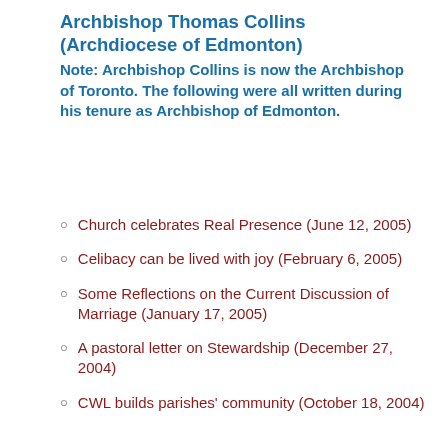Archbishop Thomas Collins (Archdiocese of Edmonton)
Note: Archbishop Collins is now the Archbishop of Toronto. The following were all written during his tenure as Archbishop of Edmonton.
Church celebrates Real Presence (June 12, 2005)
Celibacy can be lived with joy (February 6, 2005)
Some Reflections on the Current Discussion of Marriage (January 17, 2005)
A pastoral letter on Stewardship (December 27, 2004)
CWL builds parishes' community (October 18, 2004)